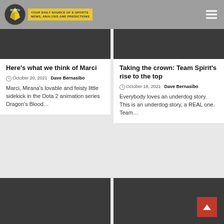SOUTH — YOUR DAILY SOURCE OF E-SPORTS NEWS, ANALYSIS AND PREDICTIONS
Here's what we think of Marci
October 20, 2021  Dave Bernasibo
Marci, Mirana's lovable and feisty little sidekick in the Dota 2 animation series Dragon's Blood…
Taking the crown: Team Spirit's rise to the top
October 18, 2021  Dave Bernasibo
Everybody loves an underdog story. This is an underdog story, a REAL one.  Team…
[Figure (photo): Dark background image placeholder for article]
[Figure (photo): Dark background image placeholder for article]